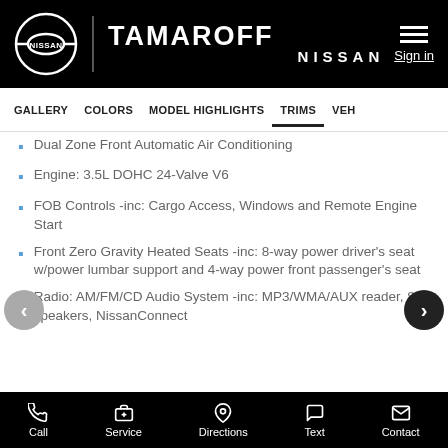[Figure (logo): Nissan Tamaroff Nissan dealership header with logo, brand name, hamburger menu and Sign in link on black background]
GALLERY  COLORS  MODEL HIGHLIGHTS  TRIMS  VEH
Dual Zone Front Automatic Air Conditioning
Engine: 3.5L DOHC 24-Valve V6
FOB Controls -inc: Cargo Access, Windows and Remote Engine Start
Front Zero Gravity Heated Seats -inc: 8-way power driver's seat w/power lumbar support and 4-way power front passenger's seat
Radio: AM/FM/CD Audio System -inc: MP3/WMA/AUX reader, 8 speakers, NissanConnect
Call  Service  Directions  Text  Contact